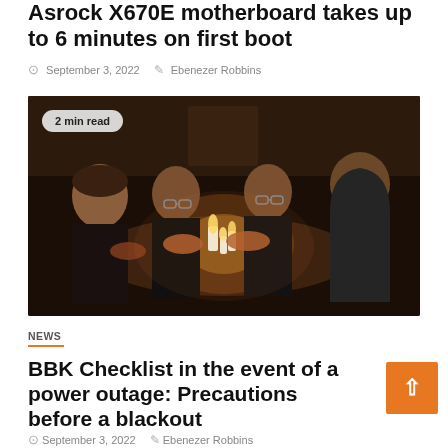Asrock X670E motherboard takes up to 6 minutes on first boot
September 3, 2022  Ebenezer Robbins
[Figure (photo): Four people sitting around a table in a dark room, warming their hands over lit candles. One person wears a headband, others wear hooded jackets. Dark moody lighting.]
2 min read
NEWS
BBK Checklist in the event of a power outage: Precautions before a blackout
September 3, 2022  Ebenezer Robbins